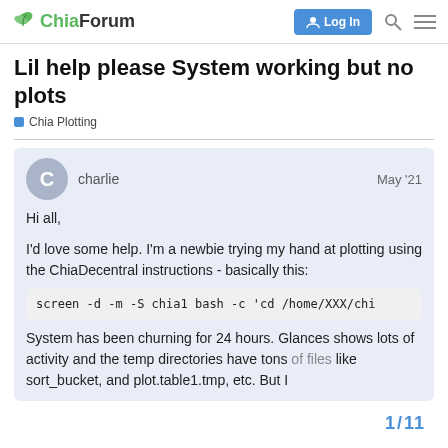ChiaForum | Log In
Lil help please System working but no plots
Chia Plotting
charlie   May '21
Hi all,

I'd love some help. I'm a newbie trying my hand at plotting using the ChiaDecentral instructions - basically this:
screen -d -m -S chia1 bash -c 'cd /home/XXX/chi
System has been churning for 24 hours. Glances shows lots of activity and the temp directories have tons of files like sort_bucket, and plot.table1.tmp, etc. But I
1 / 11